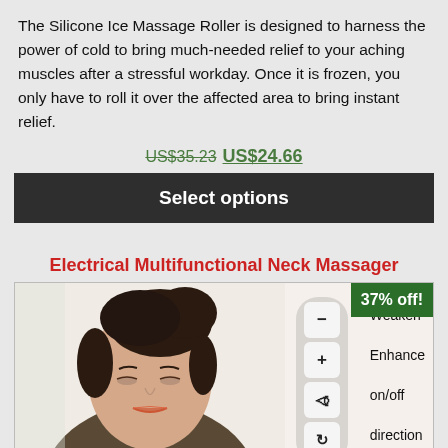The Silicone Ice Massage Roller is designed to harness the power of cold to bring much-needed relief to your aching muscles after a stressful workday. Once it is frozen, you only have to roll it over the affected area to bring instant relief.
US$35.23 US$24.66
Select options
Electrical Multifunctional Neck Massager
[Figure (photo): Product image of Electrical Multifunctional Neck Massager showing a woman looking down with a device control panel on the right side showing minus (Weaken), plus (Enhance), on/off, and direction buttons. A 37% off badge is shown in the top right corner.]